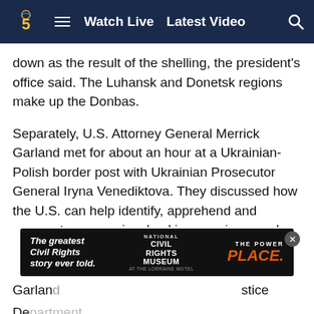[Figure (screenshot): NBC5 news website navigation bar with logo, hamburger menu, Watch Live and Latest Video links, and search icon on dark navy background]
down as the result of the shelling, the president's office said. The Luhansk and Donetsk regions make up the Donbas.
Separately, U.S. Attorney General Merrick Garland met for about an hour at a Ukrainian-Polish border post with Ukrainian Prosecutor General Iryna Venediktova. They discussed how the U.S. can help identify, apprehend and prosecute anyone involved in war crimes and other atrocities in Ukraine.
“We and our partners will pursue every avenue available to make sure that those who are responsible for these atrocities are held accountable,” Garland said in a statement.
[Figure (screenshot): Advertisement banner for National Civil Rights Museum: 'The greatest Civil Rights story ever told. THE POWER of PLACE.' on dark background]
Garlan… Justice De…